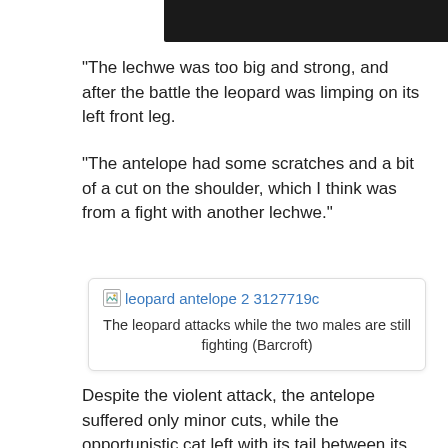[Figure (screenshot): Bottom portion of a video player with dark background and play button icon in top-right]
“The lechwe was too big and strong, and after the battle the leopard was limping on its left front leg.
“The antelope had some scratches and a bit of a cut on the shoulder, which I think was from a fight with another lechwe.”
[Figure (photo): Image placeholder link showing 'leopard antelope 2 3127719c' with caption: The leopard attacks while the two males are still fighting (Barcroft)]
The leopard attacks while the two males are still fighting (Barcroft)
Despite the violent attack, the antelope suffered only minor cuts, while the opportunistic cat left with its tail between its legs.